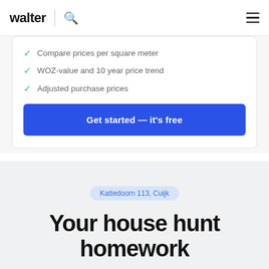walter | [search icon] [menu icon]
Compare prices per square meter
WOZ-value and 10 year price trend
Adjusted purchase prices
Get started — it's free
Kattedoorn 113, Cuijk
Your house hunt homework